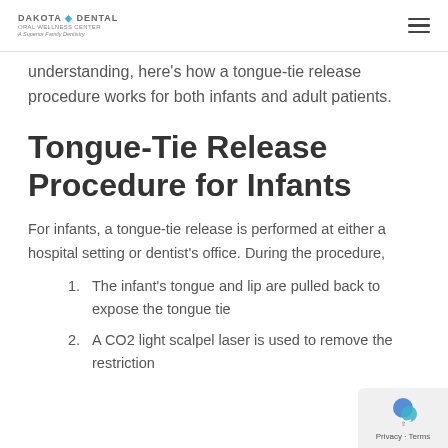DAKOTA DENTAL
understanding, here's how a tongue-tie release procedure works for both infants and adult patients.
Tongue-Tie Release Procedure for Infants
For infants, a tongue-tie release is performed at either a hospital setting or dentist's office. During the procedure,
The infant's tongue and lip are pulled back to expose the tongue tie
A CO2 light scalpel laser is used to remove the restriction